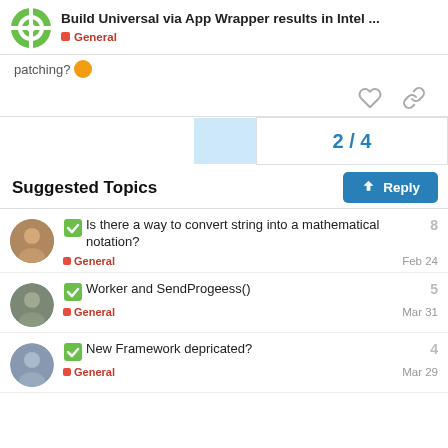Build Universal via App Wrapper results in Intel ... | General
patching?
[Figure (screenshot): Action icons: heart and link/share]
2 / 4
Reply button
Suggested Topics
Is there a way to convert string into a mathematical notation? | General | Feb 24 | 8 replies
Worker and SendProgeess() | General | Mar 31 | 5 replies
New Framework depricated? | General | Mar 29 | 4 replies